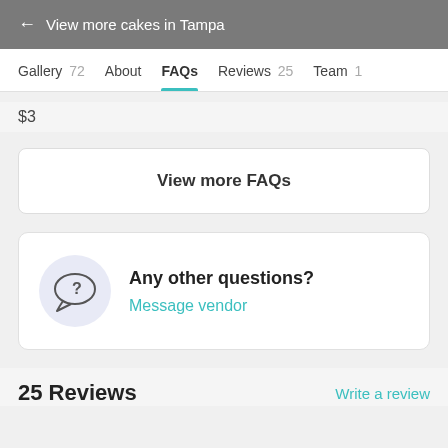← View more cakes in Tampa
Gallery 72   About   FAQs   Reviews 25   Team 1
$3
View more FAQs
Any other questions?
Message vendor
25 Reviews
Write a review